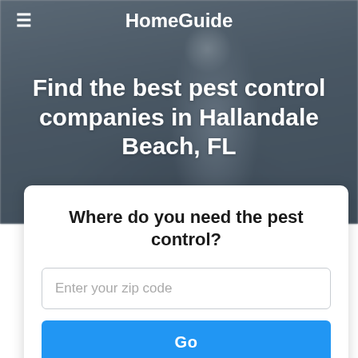[Figure (photo): Blurred outdoor background showing a pest control worker in blue uniform and cap, standing near a building. Dark overlay applied over the image.]
HomeGuide
Find the best pest control companies in Hallandale Beach, FL
Where do you need the pest control?
Enter your zip code
Go